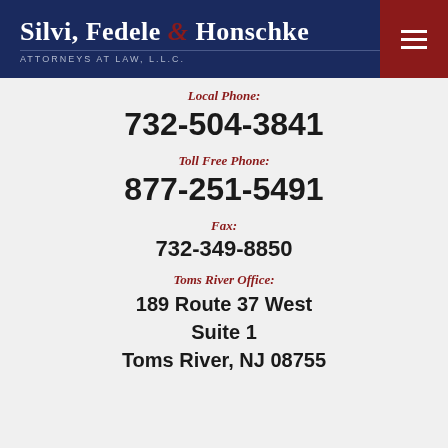Silvi, Fedele & Honschke ATTORNEYS AT LAW, L.L.C.
Local Phone:
732-504-3841
Toll Free Phone:
877-251-5491
Fax:
732-349-8850
Toms River Office:
189 Route 37 West Suite 1 Toms River, NJ 08755